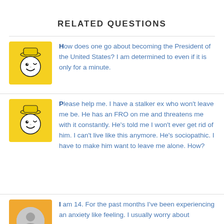RELATED QUESTIONS
How does one go about becoming the President of the United States? I am determined to even if it is only for a minute.
Please help me. I have a stalker ex who won't leave me be. He has an FRO on me and threatens me with it constantly. He's told me I won't ever get rid of him. I can't live like this anymore. He's sociopathic. I have to make him want to leave me alone. How?
I am 14. For the past months I've been experiencing an anxiety like feeling. I usually worry about